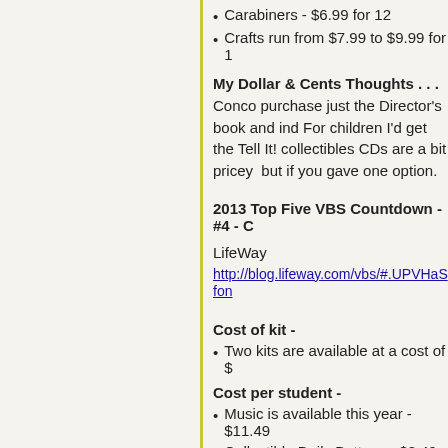Carabiners - $6.99 for 12
Crafts run from $7.99 to $9.99 for 1
My Dollar & Cents Thoughts . . . Conco purchase just the Director's book and ind For children I'd get the Tell It! collectibles CDs are a bit pricey but if you gave one option.
2013 Top Five VBS Countdown - #4 - C
LifeWay
http://blog.lifeway.com/vbs/#.UPVHaSfon
Cost of kit -
Two kits are available at a cost of $
Cost per student -
Music is available this year - $11.49
Collectible Daily Buttons - $8.49 for
Crafts range in price from $3.99 to $